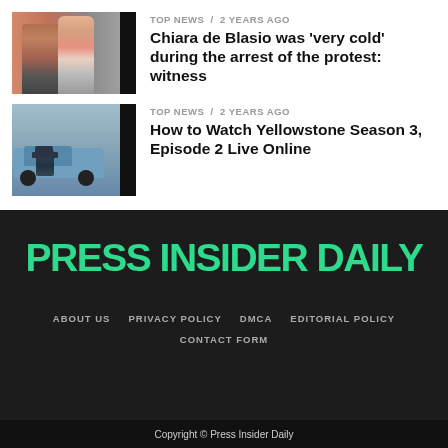TOP NEWS / 2 years ago
Chiara de Blasio was ‘very cold’ during the arrest of the protest: witness
[Figure (photo): Two people photo thumbnail with black bar on right]
TOP NEWS / 2 years ago
How to Watch Yellowstone Season 3, Episode 2 Live Online
[Figure (photo): Person in cowboy hat leaning on blue truck thumbnail with black bar on right]
PRESS INSIDER DAILY
ABOUT US
PRIVACY POLICY
DMCA
EDITORIAL POLICY
CONTACT FORM
Copyright © Press Insider Daily